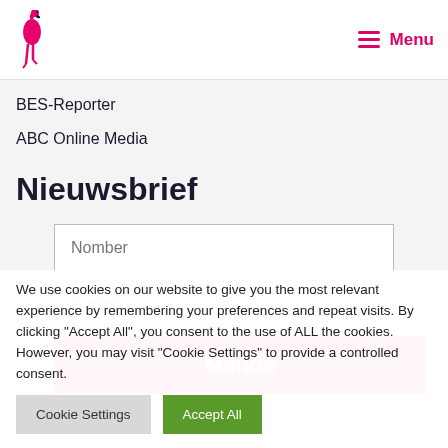Menu
BES-Reporter
ABC Online Media
Nieuwsbrief
Nomber
E-mail
Manda
We use cookies on our website to give you the most relevant experience by remembering your preferences and repeat visits. By clicking "Accept All", you consent to the use of ALL the cookies. However, you may visit "Cookie Settings" to provide a controlled consent.
Cookie Settings
Accept All